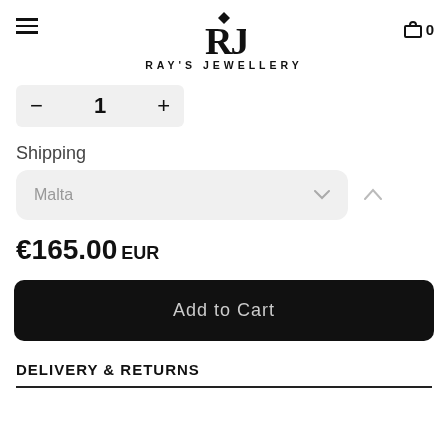RAY'S JEWELLERY
- 1 +
Shipping
Malta
€165.00 EUR
Add to Cart
DELIVERY & RETURNS